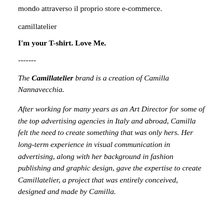mondo attraverso il proprio store e-commerce.
camillatelier
I'm your T-shirt. Love Me.
-------
The Camillatelier brand is a creation of Camilla Nannavecchia.
After working for many years as an Art Director for some of the top advertising agencies in Italy and abroad, Camilla felt the need to create something that was only hers. Her long-term experience in visual communication in advertising, along with her background in fashion publishing and graphic design, gave the expertise to create Camillatelier, a project that was entirely conceived, designed and made by Camilla.